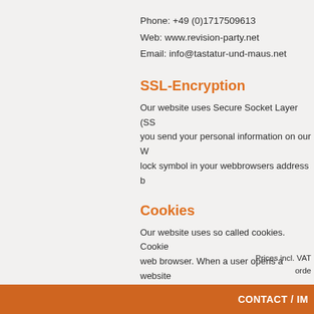Phone: +49 (0)1717509613
Web: www.revision-party.net
Email: info@tastatur-und-maus.net
SSL-Encryption
Our website uses Secure Socket Layer (SS... you send your personal information on our W... lock symbol in your webbrowsers address b...
Cookies
Our website uses so called cookies. Cookie... web browser. When a user opens a website... The cookie only contains a checksum which... again.
Prices incl. VAT... orde...
CONTACT / IM...